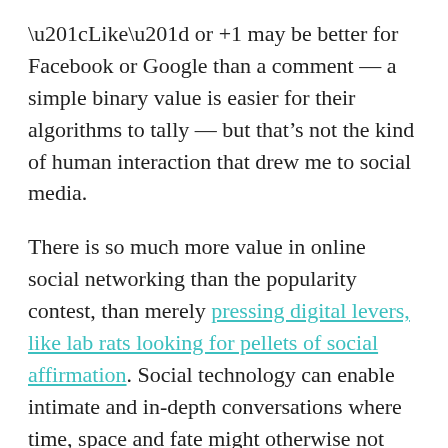“Like” or +1 may be better for Facebook or Google than a comment — a simple binary value is easier for their algorithms to tally — but that’s not the kind of human interaction that drew me to social media.
There is so much more value in online social networking than the popularity contest, than merely pressing digital levers, like lab rats looking for pellets of social affirmation. Social technology can enable intimate and in-depth conversations where time, space and fate might otherwise not allow. Ambient awareness can maintain ties that distance and a loss of common circumstances might otherwise break. The ease of organizing can enable groups and communities to thrive where, offline, they might be dispersed. Yet, I’ve seen less of this in the evolution of Facebook and other